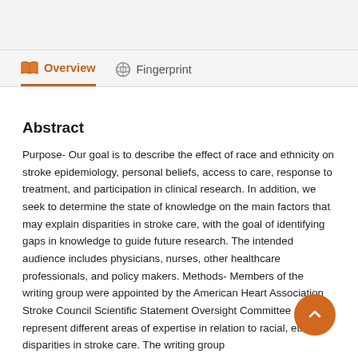Overview | Fingerprint
Abstract
Purpose- Our goal is to describe the effect of race and ethnicity on stroke epidemiology, personal beliefs, access to care, response to treatment, and participation in clinical research. In addition, we seek to determine the state of knowledge on the main factors that may explain disparities in stroke care, with the goal of identifying gaps in knowledge to guide future research. The intended audience includes physicians, nurses, other healthcare professionals, and policy makers. Methods- Members of the writing group were appointed by the American Heart Association Stroke Council Scientific Statement Oversight Committee and represent different areas of expertise in relation to racial, ethnic disparities in stroke care. The writing group